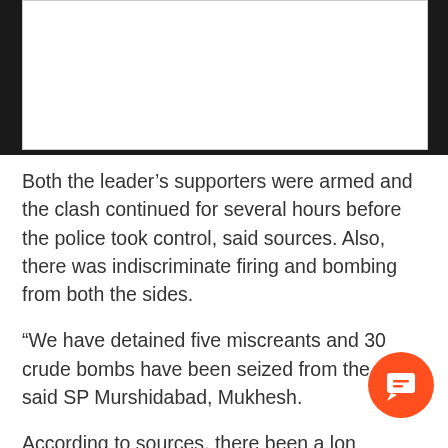[Figure (photo): Image placeholder area at top of page (white rectangle)]
Both the leader's supporters were armed and the clash continued for several hours before the police took control, said sources. Also, there was indiscriminate firing and bombing from both the sides.
“We have detained five miscreants and 30 crude bombs have been seized from the spot,” said SP Murshidabad, Mukhesh.
According to sources, there been a long standing political fight between Iman